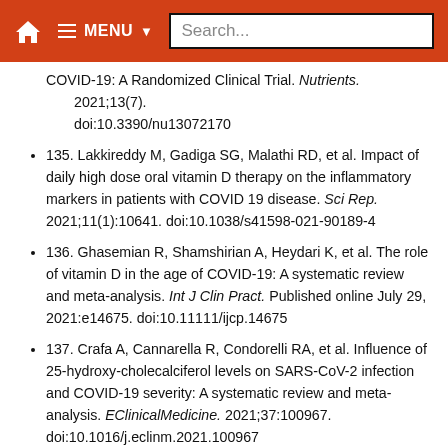🏠  ☰ MENU ▼  Search...
COVID-19: A Randomized Clinical Trial. Nutrients. 2021;13(7). doi:10.3390/nu13072170
135. Lakkireddy M, Gadiga SG, Malathi RD, et al. Impact of daily high dose oral vitamin D therapy on the inflammatory markers in patients with COVID 19 disease. Sci Rep. 2021;11(1):10641. doi:10.1038/s41598-021-90189-4
136. Ghasemian R, Shamshirian A, Heydari K, et al. The role of vitamin D in the age of COVID-19: A systematic review and meta-analysis. Int J Clin Pract. Published online July 29, 2021:e14675. doi:10.11111/ijcp.14675
137. Crafa A, Cannarella R, Condorelli RA, et al. Influence of 25-hydroxy-cholecalciferol levels on SARS-CoV-2 infection and COVID-19 severity: A systematic review and meta-analysis. EClinicalMedicine. 2021;37:100967. doi:10.1016/j.eclinm.2021.100967